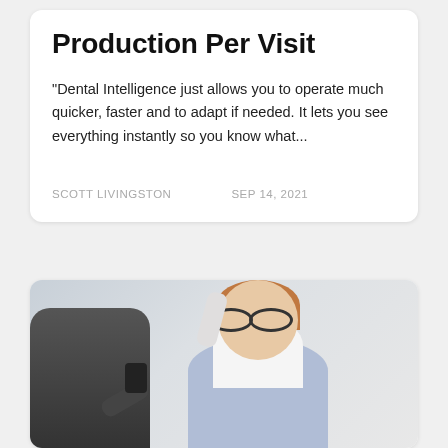Production Per Visit
"Dental Intelligence just allows you to operate much quicker, faster and to adapt if needed. It lets you see everything instantly so you know what...
SCOTT LIVINGSTON   SEP 14, 2021
[Figure (photo): A smiling woman with glasses talking on a telephone handset, wearing a light blue cardigan and white collared shirt, with a blurred figure in the background holding a smartphone.]